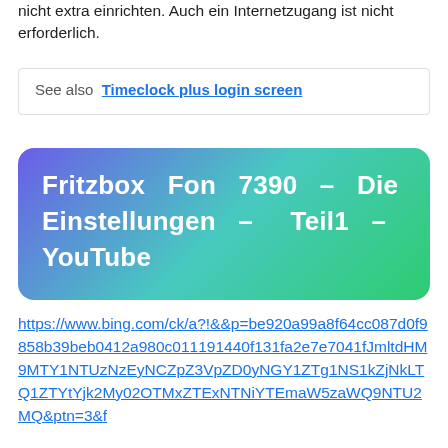nicht extra einrichten. Auch ein Internetzugang ist nicht erforderlich.
See also  Timeclock plus login screen
[Figure (other): Gradient box with text: Fritzbox Fon 7390 – Die Einstellungen – Teil1 – YouTube]
https://www.bing.com/ck/a?!&&p=be920a99a8f64cc087d0f9858b39beb0412a980c011191440f131fa2e7e7041fJmltdHM9MTY1NTUzNzEyNCZpZ3VpZD0yNGY1ZTg1NS1kZjNkLTQ1ZTYtYjk2My02OTMxZTExNTNiYTEmaW5zaWQ9NTU2MQ&ptn=3&f